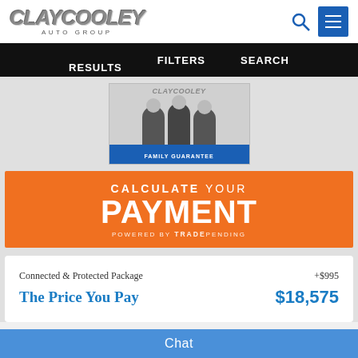[Figure (logo): Clay Cooley Auto Group logo with metallic silver italic text and 'AUTO GROUP' subtitle]
RESULTS   FILTERS   SEARCH
[Figure (photo): Clay Cooley Family Guarantee image showing three men in suits with American and Texas flags, with 'FAMILY GUARANTEE' banner]
[Figure (infographic): Orange banner reading: CALCULATE YOUR PAYMENT - POWERED BY TRADEPENDING]
|  |  |
| --- | --- |
| Connected & Protected Package | +$995 |
| The Price You Pay | $18,575 |
Chat